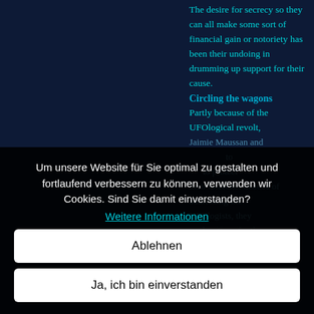The desire for secrecy so they can all make some sort of financial gain or notoriety has been their undoing in drumming up support for their cause. Circling the wagons Partly because of the UFOlogical revolt, Jaimie Maussan and ... to ... to protect their interests. Instead of addressing the UFOlogists, they ... explanations for the...
Um unsere Website für Sie optimal zu gestalten und fortlaufend verbessern zu können, verwenden wir Cookies. Sind Sie damit einverstanden? Weitere Informationen
Ablehnen
Ja, ich bin einverstanden